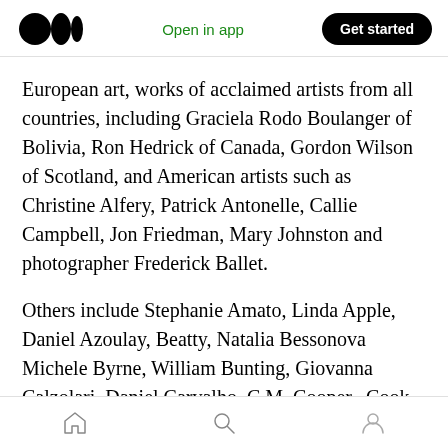Medium app header with logo, Open in app, Get started
European art, works of acclaimed artists from all countries, including Graciela Rodo Boulanger of Bolivia, Ron Hedrick of Canada, Gordon Wilson of Scotland, and American artists such as Christine Alfery, Patrick Antonelle, Callie Campbell, Jon Friedman, Mary Johnston and photographer Frederick Ballet.
Others include Stephanie Amato, Linda Apple, Daniel Azoulay, Beatty, Natalia Bessonova Michele Byrne, William Bunting, Giovanna Calzolari, Daniel Carvalho, C.M. Cooper,, Cook,
Navigation bar: home, search, profile icons